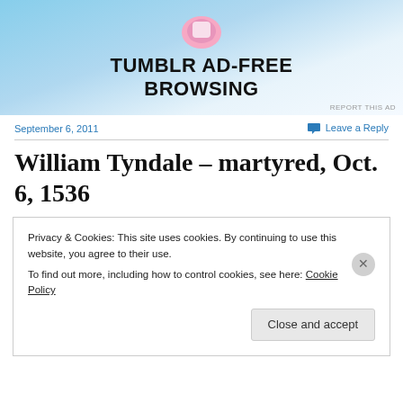[Figure (screenshot): Tumblr ad banner with text TUMBLR AD-FREE BROWSING on a light blue sky background with a cartoon character]
REPORT THIS AD
September 6, 2011
Leave a Reply
William Tyndale – martyred, Oct. 6, 1536
Privacy & Cookies: This site uses cookies. By continuing to use this website, you agree to their use.
To find out more, including how to control cookies, see here: Cookie Policy
Close and accept